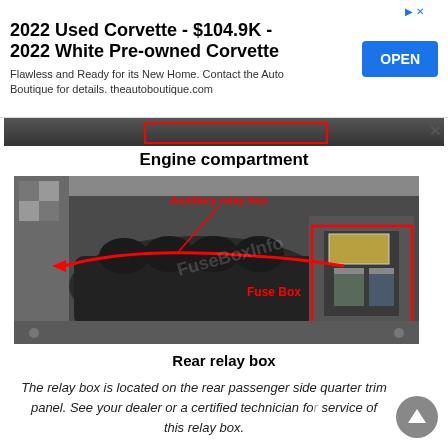[Figure (screenshot): Advertisement banner for 2022 Used Corvette at $104.9K, 2022 White Pre-owned Corvette. Text: Flawless and Ready for its New Home. Contact the Auto Boutique for details. theautoboutique.com. Blue OPEN button on the right.]
[Figure (engineering-diagram): Partial image strip showing top of a vehicle engine bay with a red outlined box visible.]
Engine compartment
[Figure (engineering-diagram): Photo of a vehicle engine compartment with two labeled callouts in red: 'Auxiliary relay box' (upper center) pointing left with an arrow, and 'Fuse Box' (right side) with a red rectangle outlining the fuse box location. A faint watermark 'FuseBoxInfo' is visible.]
Rear relay box
The relay box is located on the rear passenger side quarter trim panel. See your dealer or a certified technician for service of this relay box.